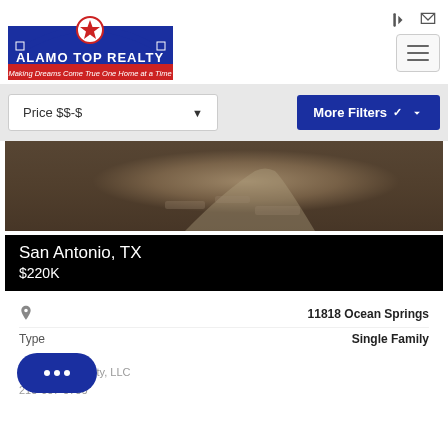[Figure (logo): Alamo Top Realty logo with red star and tagline 'Making Dreams Come True One Home at a Time']
Price $$-$
More Filters
[Figure (photo): Exterior photo of a property in San Antonio, TX showing stone/brick path or driveway]
San Antonio, TX
$220K
11818 Ocean Springs
Type
Single Family
Alamo Top Realty, LLC
210-607-0700